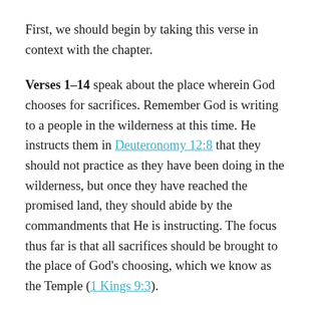First, we should begin by taking this verse in context with the chapter.
Verses 1-14 speak about the place wherein God chooses for sacrifices. Remember God is writing to a people in the wilderness at this time. He instructs them in Deuteronomy 12:8 that they should not practice as they have been doing in the wilderness, but once they have reached the promised land, they should abide by the commandments that He is instructing. The focus thus far is that all sacrifices should be brought to the place of God’s choosing, which we know as the Temple (1 Kings 9:3).